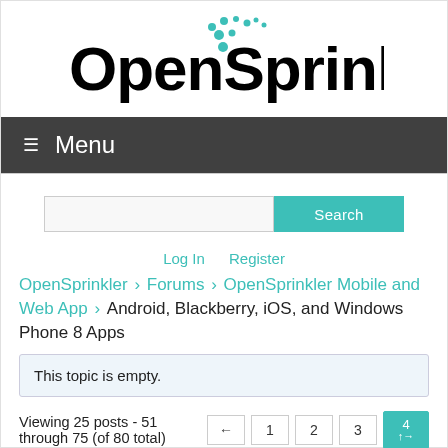[Figure (logo): OpenSprinkler logo with teal dot decorations above the letter i]
≡ Menu
[Figure (screenshot): Search input box with teal Search button]
Log In   Register
OpenSprinkler › Forums › OpenSprinkler Mobile and Web App › Android, Blackberry, iOS, and Windows Phone 8 Apps
This topic is empty.
Viewing 25 posts - 51 through 75 (of 80 total)
← 1 2 3 4 ↑→